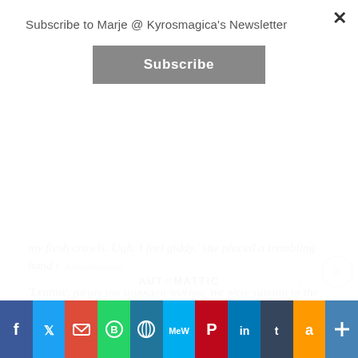Subscribe to Marje @ Kyrosmagica's Newsletter
Subscribe
my flesh crawls. Ugh. I feel giddy,' she placed a trembling hand on her forehead.
'Leanne, forget the innocent worms. We were talking of the fly?'
'Yes, we were. Now let me see. The fly has been to Amelina's,' she paused for a moment, her eyes wide. 'He flew in the window but I am at a loss to figure out what
Advertisements
AUT⊙MATTIC
[Figure (infographic): Social media sharing bar with icons: Facebook, Twitter, Email, WhatsApp, WordPress, MeWe, Pinterest, LinkedIn, Tumblr, Amazon, Share]